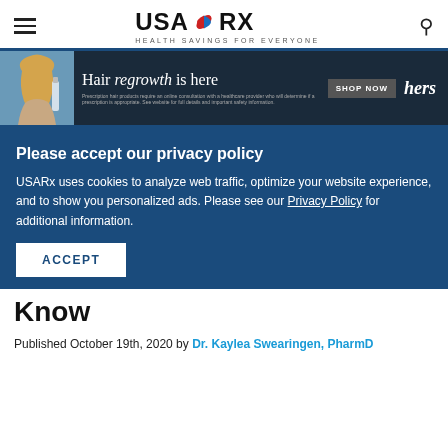[Figure (logo): USA Rx logo with pill icon and tagline HEALTH SAVINGS FOR EVERYONE]
[Figure (photo): Advertisement banner: Hair regrowth is here - SHOP NOW - hers brand, featuring a woman with blonde hair and a serum bottle]
Please accept our privacy policy
USARx uses cookies to analyze web traffic, optimize your website experience, and to show you personalized ads. Please see our Privacy Policy for additional information.
ACCEPT
Know
Published October 19th, 2020 by Dr. Kaylea Swearingen, PharmD